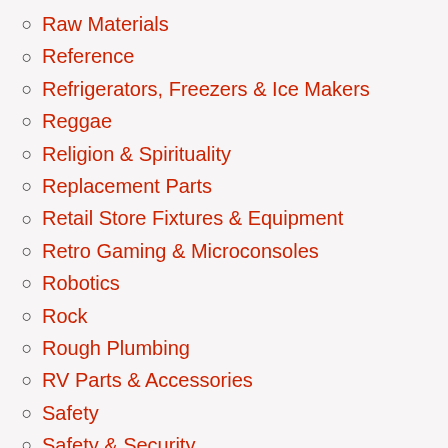Raw Materials
Reference
Refrigerators, Freezers & Ice Makers
Reggae
Religion & Spirituality
Replacement Parts
Retail Store Fixtures & Equipment
Retro Gaming & Microconsoles
Robotics
Rock
Rough Plumbing
RV Parts & Accessories
Safety
Safety & Security
Sauces, Gravies & Marinades